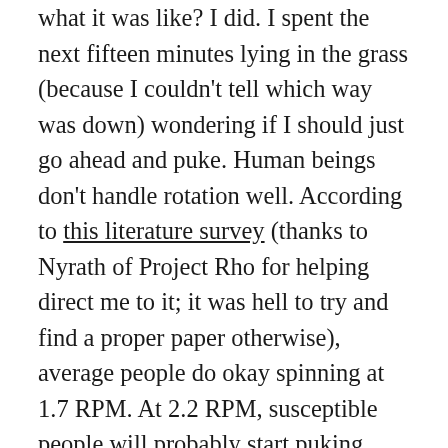what it was like? I did. I spent the next fifteen minutes lying in the grass (because I couldn't tell which way was down) wondering if I should just go ahead and puke. Human beings don't handle rotation well. According to this literature survey (thanks to Nyrath of Project Rho for helping direct me to it; it was hell to try and find a proper paper otherwise), average people do okay spinning at 1.7 RPM. At 2.2 RPM, susceptible people will probably start puking everywhere. At 5.44 RPM, ordinary tasks become stressful, because, thanks to the Coriolis effect (that